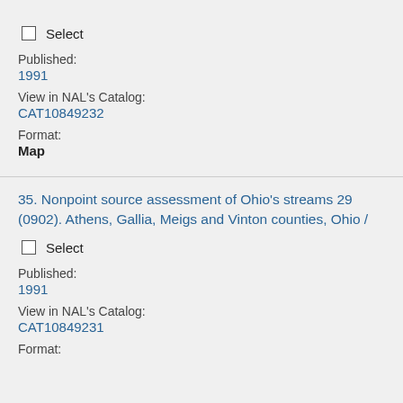Published: 1991
View in NAL's Catalog: CAT10849232
Format: Map
35. Nonpoint source assessment of Ohio's streams 29 (0902). Athens, Gallia, Meigs and Vinton counties, Ohio /
Select
Published: 1991
View in NAL's Catalog: CAT10849231
Format: